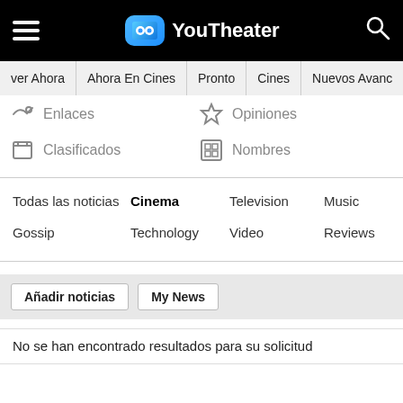YouTheater
ver Ahora | Ahora En Cines | Pronto | Cines | Nuevos Avanc
Enlaces
Opiniones
Clasificados
Nombres
Todas las noticias
Cinema
Television
Music
Gossip
Technology
Video
Reviews
Añadir noticias  My News
No se han encontrado resultados para su solicitud